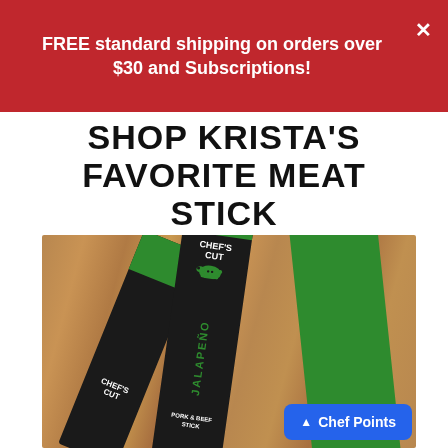FREE standard shipping on orders over $30 and Subscriptions!
SHOP KRISTA'S FAVORITE MEAT STICK
[Figure (photo): Chef's Cut Jalapeño Pork & Beef Sticks laid on a wood surface, showing two dark packaging sticks with green branding and one green panel, partially visible.]
Chef Points